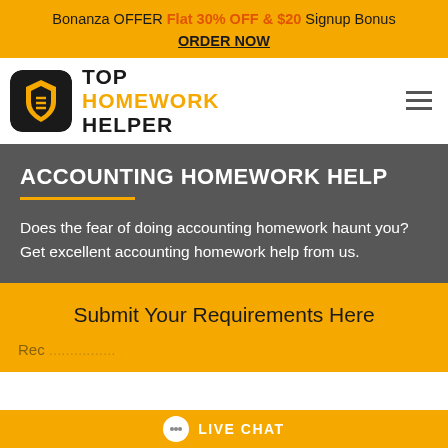Bonanza OFFER Flat 30% OFF & $20 Signup Bonus ORDER NOW
[Figure (logo): Top Homework Helper logo with shield icon and text]
ACCOUNTING HOMEWORK HELP
Does the fear of doing accounting homework haunt you? Get excellent accounting homework help from us.
Submit Your Requirements Here
LIVE CHAT